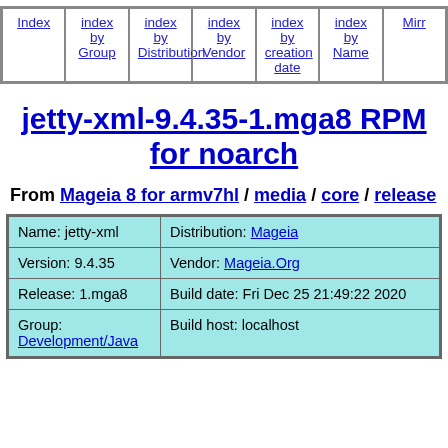Index | index by Group | index by Distribution | index by Vendor | index by creation date | index by Name | Mirrors
jetty-xml-9.4.35-1.mga8 RPM for noarch
From Mageia 8 for armv7hl / media / core / release
| Name: jetty-xml | Distribution: Mageia |
| Version: 9.4.35 | Vendor: Mageia.Org |
| Release: 1.mga8 | Build date: Fri Dec 25 21:49:22 2020 |
| Group: Development/Java | Build host: localhost |